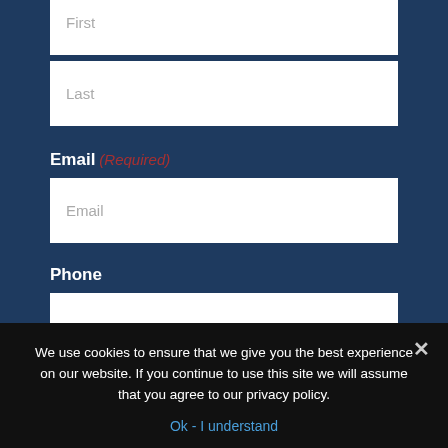First
Last
Email (Required)
Email
Phone
We use cookies to ensure that we give you the best experience on our website. If you continue to use this site we will assume that you agree to our privacy policy.
Ok - I understand